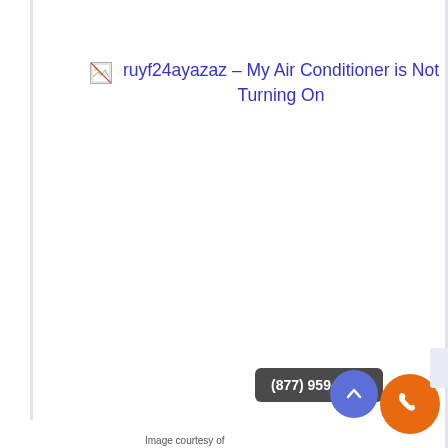[Figure (other): Broken image placeholder icon (small image icon, failed to load) followed by a hyperlink text reading 'ruyf24ayazaz – My Air Conditioner is Not Turning On' displayed in blue/purple link color, centered on the page.]
(877) 959-3534
Image courtesy of